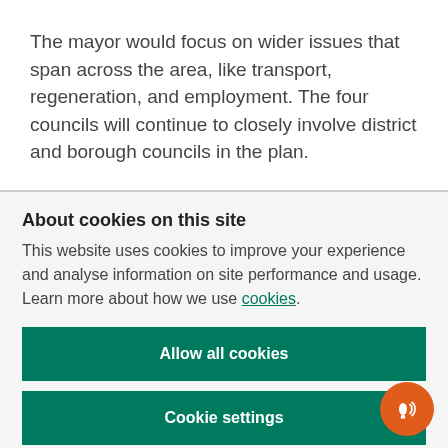The mayor would focus on wider issues that span across the area, like transport, regeneration, and employment. The four councils will continue to closely involve district and borough councils in the plan.
About cookies on this site
This website uses cookies to improve your experience and analyse information on site performance and usage. Learn more about how we use cookies.
Allow all cookies
Cookie settings